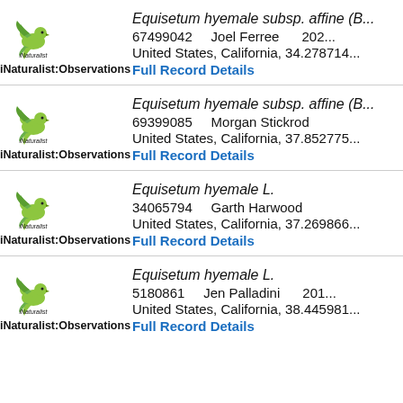[Figure (logo): iNaturalist bird logo with text 'iNaturalist:Observations']
Equisetum hyemale subsp. affine (B... 67499042   Joel Ferree   202... United States, California, 34.278714...
Full Record Details
[Figure (logo): iNaturalist bird logo with text 'iNaturalist:Observations']
Equisetum hyemale subsp. affine (B... 69399085   Morgan Stickrod   United States, California, 37.852775...
Full Record Details
[Figure (logo): iNaturalist bird logo with text 'iNaturalist:Observations']
Equisetum hyemale L. 34065794   Garth Harwood   United States, California, 37.269866...
Full Record Details
[Figure (logo): iNaturalist bird logo with text 'iNaturalist:Observations']
Equisetum hyemale L. 5180861   Jen Palladini   201... United States, California, 38.445981...
Full Record Details